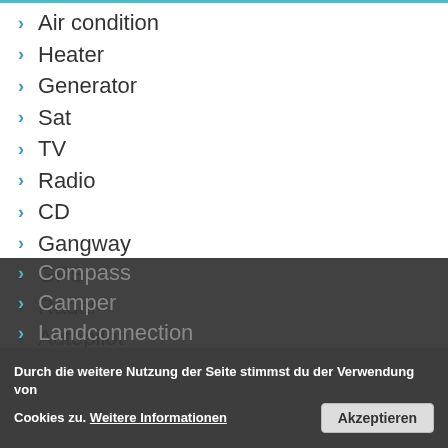Air condition
Heater
Generator
Sat
TV
Radio
CD
Gangway
GPS
Radar
Autopilot
Echolot
Microcommander
Teakdeck
Compass
Camper
Landconnection
Durch die weitere Nutzung der Seite stimmst du der Verwendung von Cookies zu. Weitere Informationen
Akzeptieren